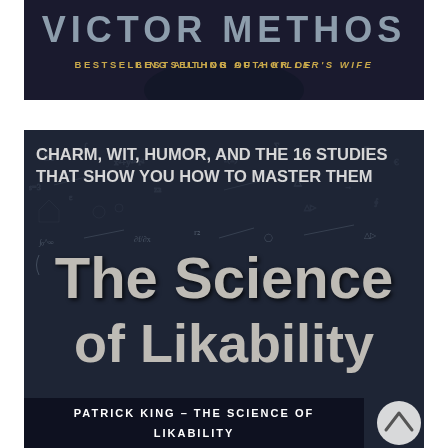[Figure (illustration): Top portion of a book cover showing partial author name and subtitle 'Bestselling Author of A Killer's Wife' on a dark background]
[Figure (illustration): Book cover of 'The Science of Likability' by Patrick King. Dark chalkboard background with math equations. Subtitle: 'Charm, Wit, Humor, and the 16 Studies That Show You How to Master Them'. Bottom text: 'Patrick King – The Science of Likability']